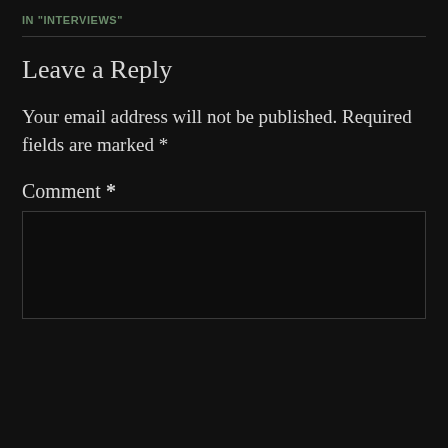IN "INTERVIEWS"
Leave a Reply
Your email address will not be published. Required fields are marked *
Comment *